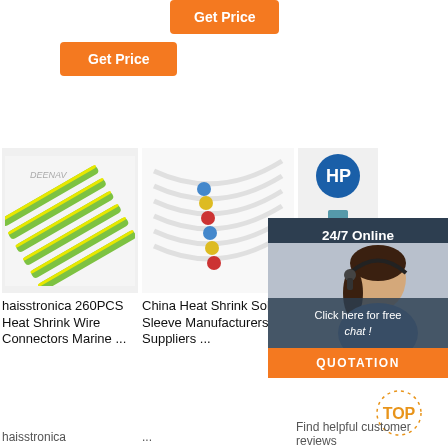[Figure (screenshot): Orange 'Get Price' button centered at top]
[Figure (screenshot): Orange 'Get Price' button on left]
[Figure (photo): Green and yellow striped heat shrink tubing, Deenav brand]
[Figure (photo): Colorful heat shrink solder sleeves/connectors on white background]
[Figure (photo): HP brand logo with blue cylindrical component]
[Figure (photo): 24/7 Online customer support overlay with woman wearing headset, QUOTATION button]
haisstronica 260PCS Heat Shrink Wire Connectors Marine ...
China Heat Shrink Solder Sleeve Manufacturers Suppliers ...
Amazon Customer reviews Wirefy 110 PCS Solder
Find helpful customer reviews
haisstronica
...